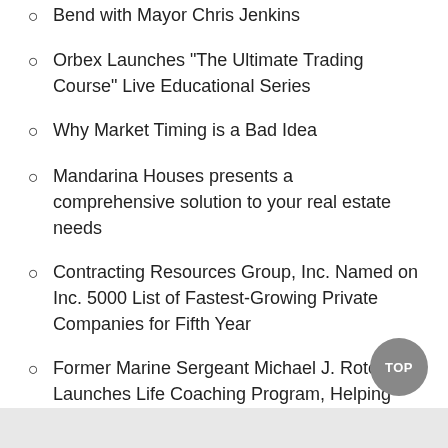Bend with Mayor Chris Jenkins
Orbex Launches "The Ultimate Trading Course" Live Educational Series
Why Market Timing is a Bad Idea
Mandarina Houses presents a comprehensive solution to your real estate needs
Contracting Resources Group, Inc. Named on Inc. 5000 List of Fastest-Growing Private Companies for Fifth Year
Former Marine Sergeant Michael J. Rotch Launches Life Coaching Program, Helping People Find Their Voice